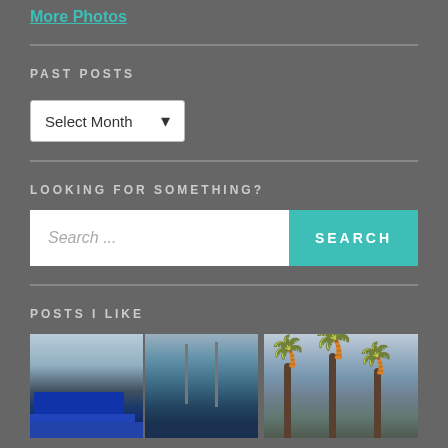More Photos
PAST POSTS
Select Month
LOOKING FOR SOMETHING?
Search ...
SEARCH
POSTS I LIKE
[Figure (photo): Two side-by-side photos showing a harbor/port with ships and industrial equipment under cloudy sky]
[Figure (photo): Photo showing tall palm trees against a grey/overcast sky]